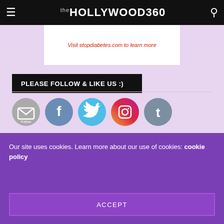the HOLLYWOOD 360
[Figure (other): Advertisement banner with text: Visit stopdiabetes.com to learn more]
PLEASE FOLLOW & LIKE US :)
[Figure (infographic): Social media icons: Follow (email), Facebook, Twitter, Instagram, Tumblr]
SUBSCRIBE
Our site uses cookies. Learn more about our use of cookies: cookie policy
ACCEPT